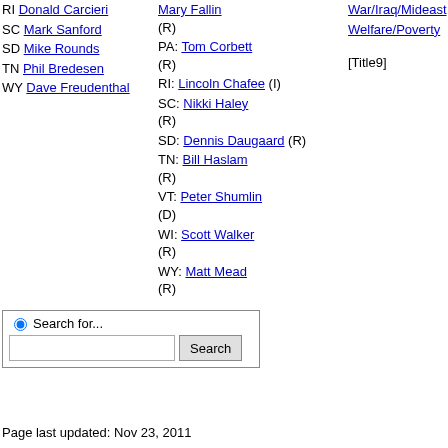RI Donald Carcieri
SC Mark Sanford
SD Mike Rounds
TN Phil Bredesen
WY Dave Freudenthal
OR: Mary Fallin (R)
PA: Tom Corbett (R)
RI: Lincoln Chafee (I)
SC: Nikki Haley (R)
SD: Dennis Daugaard (R)
TN: Bill Haslam (R)
VT: Peter Shumlin (D)
WI: Scott Walker (R)
WY: Matt Mead (R)
War/Iraq/Mideast
Welfare/Poverty
[Title9]
Page last updated: Nov 23, 2011